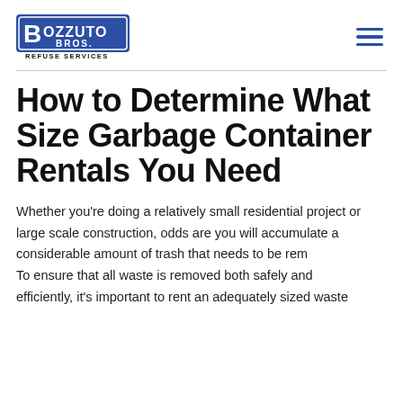[Figure (logo): Bozzuto Bros. Refuse Services logo — blue shield/banner with white bold text]
How to Determine What Size Garbage Container Rentals You Need
Whether you're doing a relatively small residential project or large scale construction, odds are you will accumulate a considerable amount of trash that needs to be rem To ensure that all waste is removed both safely and efficiently, it's important to rent an adequately sized waste